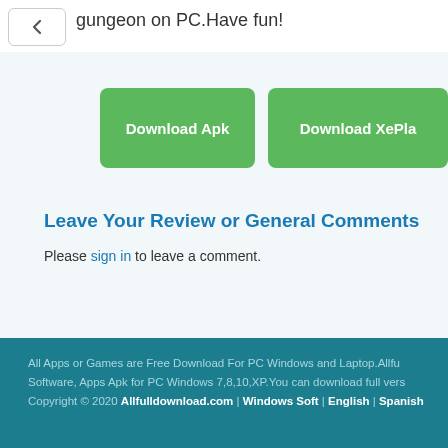gungeon on PC.Have fun!
Download Apk
Download XePla
Leave Your Review or General Comments
Please sign in to leave a comment.
All Apps or Games are Free Download For PC Windows and Laptop.Allfu Software, Apps Apk for PC Windows 7,8,10,XP.You can download full vers Copyright © 2020 Allfulldownload.com | Windows Soft | English | Spanish